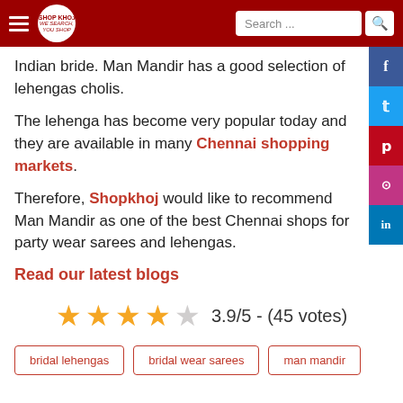SHOPKHOJ - Search bar
Indian bride. Man Mandir has a good selection of lehengas cholis.
The lehenga has become very popular today and they are available in many Chennai shopping markets.
Therefore, Shopkhoj would like to recommend Man Mandir as one of the best Chennai shops for party wear sarees and lehengas.
Read our latest blogs
[Figure (other): Star rating: 3.9/5 - (45 votes) with 4 filled gold stars and 1 empty star]
bridal lehengas
bridal wear sarees
man mandir